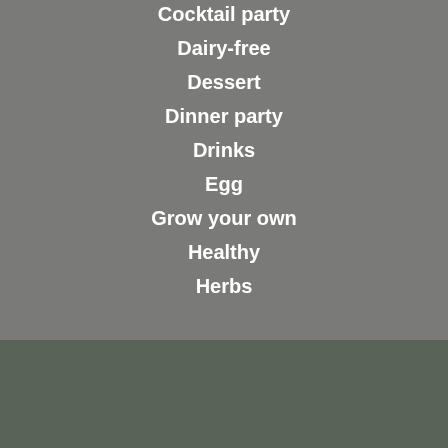Cocktail party
Dairy-free
Dessert
Dinner party
Drinks
Egg
Grow your own
Healthy
Herbs